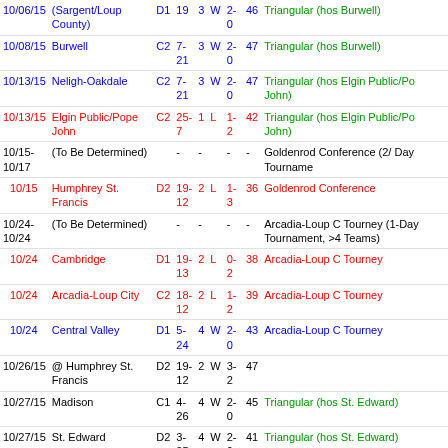| Date | Opponent | Class | Score | Sets | W/L | Record | Points | Tournament/Notes |
| --- | --- | --- | --- | --- | --- | --- | --- | --- |
| 10/08/15 | (Sargent/Loup County) | D1 | 19 | 3 | W | 2-0 | 46 | Triangular (hos Burwell) |
| 10/08/15 | Burwell | C2 | 7-21 | 3 | W | 2-0 | 47 | Triangular (hos Burwell) |
| 10/13/15 | Neligh-Oakdale | C2 | 7-21 | 3 | W | 2-0 | 47 | Triangular (hos Elgin Public/Po John) |
| 10/13/15 | Elgin Public/Pope John | C2 | 25-7 | 1 | L | 1-2 | 42 | Triangular (hos Elgin Public/Po John) |
| 10/15-10/17 | (To Be Determined) |  | - | - |  | - | - | Goldenrod Conference (2/ Day Tourname |
| 10/15 | Humphrey St. Francis | D2 | 19-12 | 2 | L | 1-3 | 36 | Goldenrod Conference |
| 10/24-10/24 | (To Be Determined) |  | - | - |  | - | - | Arcadia-Loup C Tourney (1-Day Tournament, >4 Teams) |
| 10/24 | Cambridge | D1 | 19-13 | 2 | L | 0-2 | 38 | Arcadia-Loup C Tourney |
| 10/24 | Arcadia-Loup City | C2 | 18-12 | 2 | L | 1-2 | 39 | Arcadia-Loup C Tourney |
| 10/24 | Central Valley | D1 | 5-24 | 4 | W | 2-0 | 43 | Arcadia-Loup C Tourney |
| 10/26/15 | @ Humphrey St. Francis | D2 | 19-12 | 2 | W | 3-2 | 47 |  |
| 10/27/15 | Madison | C1 | 4-26 | 4 | W | 2-0 | 45 | Triangular (hos St. Edward) |
| 10/27/15 | St. Edward | D2 | 3-25 | 4 | W | 2-0 | 41 | Triangular (hos St. Edward) |